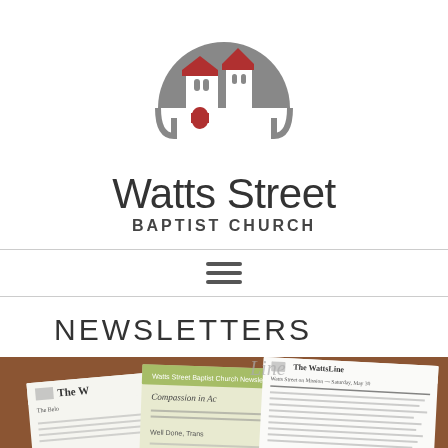[Figure (logo): Watts Street Baptist Church circular logo with gray semicircle background and red/white church building illustration]
Watts Street BAPTIST CHURCH
[Figure (other): Hamburger menu icon with three horizontal bars]
NEWSLETTERS
[Figure (photo): Photo of several WattsLine church newsletters spread on a wooden table, showing headlines including 'Compassion in Ac...' and 'Watts Street on Mission — Saturday, May 30']